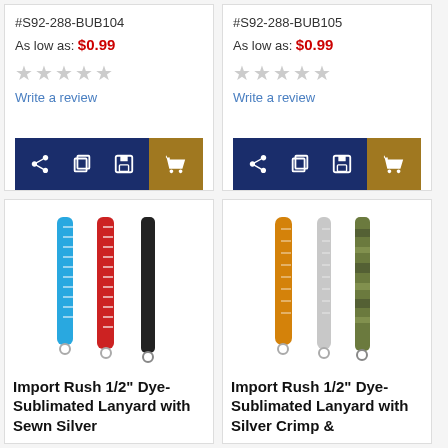#S92-288-BUB104
As low as: $0.99
Write a review
#S92-288-BUB105
As low as: $0.99
Write a review
[Figure (photo): Three lanyards (blue, red, black) - Import Rush 1/2" Dye-Sublimated Lanyard with Sewn Silver]
Import Rush 1/2" Dye-Sublimated Lanyard with Sewn Silver
[Figure (photo): Three lanyards (orange, silver/white, camo/green) - Import Rush 1/2" Dye-Sublimated Lanyard with Silver Crimp &]
Import Rush 1/2" Dye-Sublimated Lanyard with Silver Crimp &